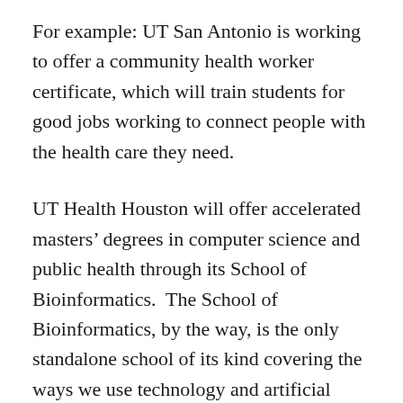For example: UT San Antonio is working to offer a community health worker certificate, which will train students for good jobs working to connect people with the health care they need.
UT Health Houston will offer accelerated masters' degrees in computer science and public health through its School of Bioinformatics.  The School of Bioinformatics, by the way, is the only standalone school of its kind covering the ways we use technology and artificial